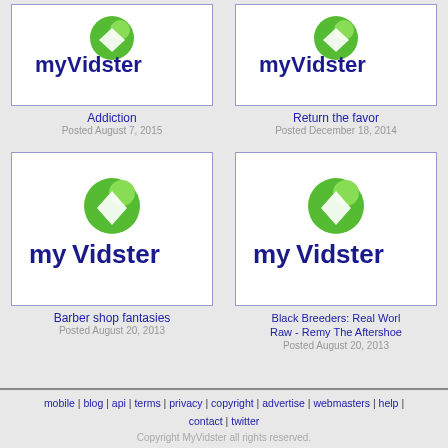[Figure (screenshot): myVidster logo thumbnail for Addiction video]
Addiction
Posted August 7, 2015
[Figure (screenshot): myVidster logo thumbnail for Return the favor video]
Return the favor
Posted December 18, 2014
[Figure (screenshot): myVidster logo thumbnail for Barber shop fantasies video]
Barber shop fantasies
Posted August 20, 2013
[Figure (screenshot): myVidster logo thumbnail for Black Breeders: Real World Raw - Remy The Aftershoe video]
Black Breeders: Real World Raw - Remy The Aftershoe
Posted August 20, 2013
mobile | blog | api | terms | privacy | copyright | advertise | webmasters | help | contact | twitter
Copyright MyVidster all rights reserved.